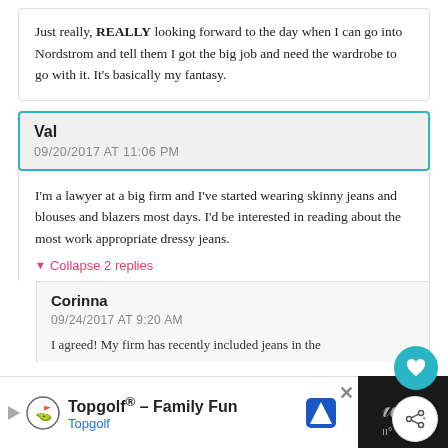Just really, REALLY looking forward to the day when I can go into Nordstrom and tell them I got the big job and need the wardrobe to go with it. It's basically my fantasy.
Val
09/20/2017 AT 11:06 PM
I'm a lawyer at a big firm and I've started wearing skinny jeans and blouses and blazers most days. I'd be interested in reading about the most work appropriate dressy jeans.
▼ Collapse 2 replies
Corinna
09/24/2017 AT 9:20 AM
I agreed! My firm has recently included jeans in the
Topgolf® – Family Fun
Topgolf